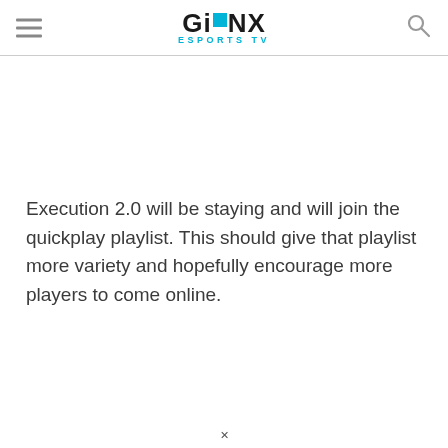GINX ESPORTS TV
Execution 2.0 will be staying and will join the quickplay playlist. This should give that playlist more variety and hopefully encourage more players to come online.